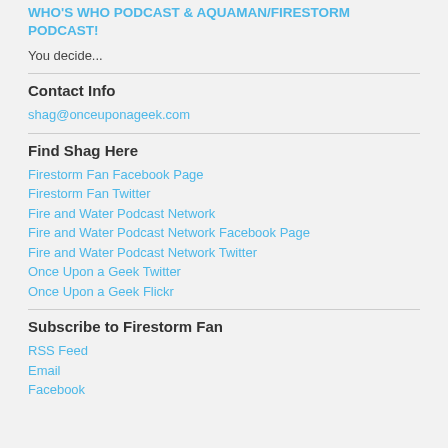WHO'S WHO PODCAST & AQUAMAN/FIRESTORM PODCAST!
You decide...
Contact Info
shag@onceuponageek.com
Find Shag Here
Firestorm Fan Facebook Page
Firestorm Fan Twitter
Fire and Water Podcast Network
Fire and Water Podcast Network Facebook Page
Fire and Water Podcast Network Twitter
Once Upon a Geek Twitter
Once Upon a Geek Flickr
Subscribe to Firestorm Fan
RSS Feed
Email
Facebook